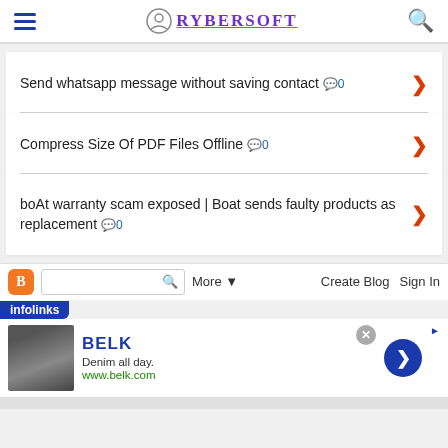RYBERSOFT
Send whatsapp message without saving contact 💬 0
Compress Size Of PDF Files Offline 💬 0
boAt warranty scam exposed | Boat sends faulty products as replacement 💬 0
[Figure (screenshot): Blogger toolbar with search box, More dropdown, Create Blog, Sign In options]
[Figure (screenshot): Infolinks advertisement bar showing BELK ad with Denim all day and www.belk.com]